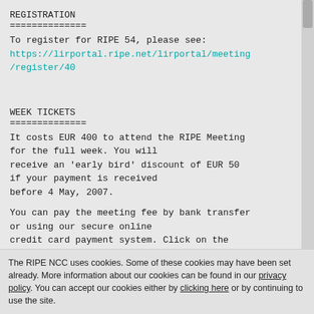REGISTRATION
==============
To register for RIPE 54, please see:
https://lirportal.ripe.net/lirportal/meeting/register/40
WEEK TICKETS
==============
It costs EUR 400 to attend the RIPE Meeting for the full week. You will receive an 'early bird' discount of EUR 50 if your payment is received before 4 May, 2007.
You can pay the meeting fee by bank transfer or using our secure online credit card payment system. Click on the link above for details.
The RIPE NCC uses cookies. Some of these cookies may have been set already. More information about our cookies can be found in our privacy policy. You can accept our cookies either by clicking here or by continuing to use the site.